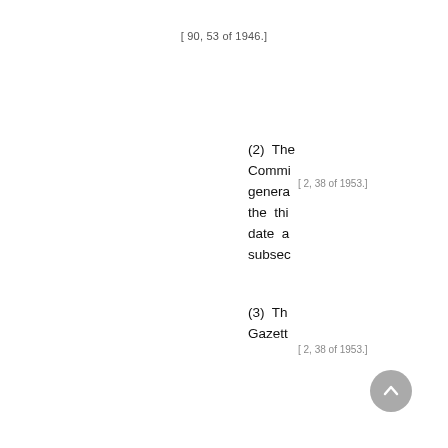[ 90, 53 of 1946.]
[ 2, 38 of 1953.]
(2)  The Commi general the thi date a subsec
[ 2, 38 of 1953.]
(3)  Th Gazett